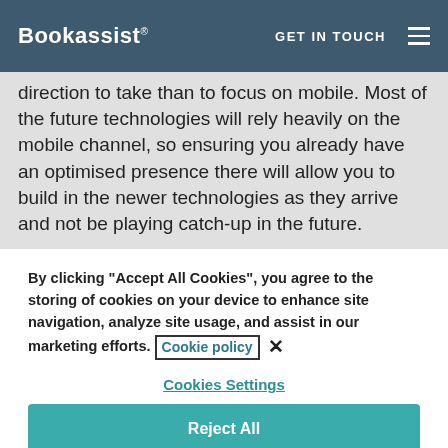Bookassist® GET IN TOUCH ☰
direction to take than to focus on mobile. Most of the future technologies will rely heavily on the mobile channel, so ensuring you already have an optimised presence there will allow you to build in the newer technologies as they arrive and not be playing catch-up in the future.
By clicking "Accept All Cookies", you agree to the storing of cookies on your device to enhance site navigation, analyze site usage, and assist in our marketing efforts. Cookie policy ×
Cookies Settings
Reject All
Accept All Cookies